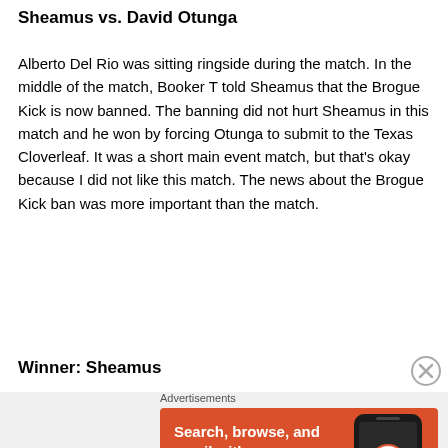Sheamus vs. David Otunga
Alberto Del Rio was sitting ringside during the match. In the middle of the match, Booker T told Sheamus that the Brogue Kick is now banned. The banning did not hurt Sheamus in this match and he won by forcing Otunga to submit to the Texas Cloverleaf. It was a short main event match, but that’s okay because I did not like this match. The news about the Brogue Kick ban was more important than the match.
Winner: Sheamus
Advertisements
[Figure (screenshot): DuckDuckGo advertisement banner with orange background. Text reads: Search, browse, and email with more privacy. All in One Free App. Shows a phone with the DuckDuckGo logo.]